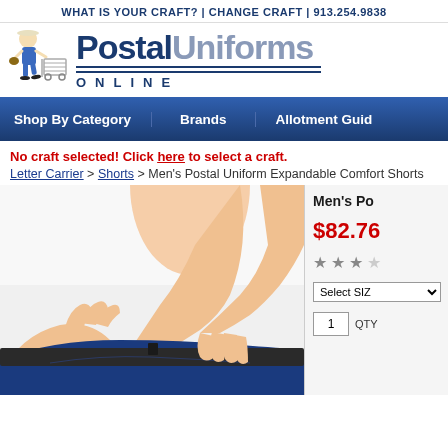WHAT IS YOUR CRAFT? | CHANGE CRAFT | 913.254.9838
[Figure (logo): PostalUniforms Online logo with postal worker illustration pushing a cart]
Shop By Category | Brands | Allotment Guide
No craft selected! Click here to select a craft.
Letter Carrier > Shorts > Men's Postal Uniform Expandable Comfort Shorts
[Figure (photo): Close-up photo of hands pulling on waistband of navy blue postal uniform shorts]
Men's Po
$82.76
[Figure (other): Star rating display showing approximately 3 stars]
Select SIZ
1  QTY